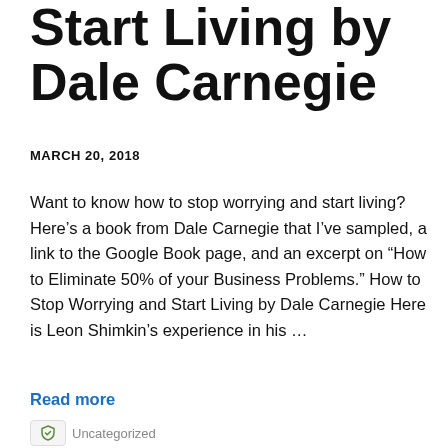Start Living by Dale Carnegie
MARCH 20, 2018
Want to know how to stop worrying and start living? Here's a book from Dale Carnegie that I've sampled, a link to the Google Book page, and an excerpt on “How to Eliminate 50% of your Business Problems.” How to Stop Worrying and Start Living by Dale Carnegie Here is Leon Shimkin’s experience in his …
Read more
Uncategorized